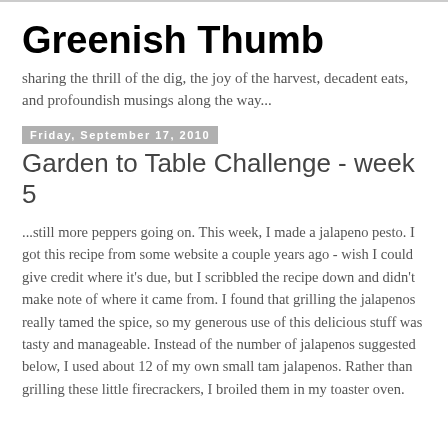Greenish Thumb
sharing the thrill of the dig, the joy of the harvest, decadent eats, and profoundish musings along the way...
Friday, September 17, 2010
Garden to Table Challenge - week 5
...still more peppers going on. This week, I made a jalapeno pesto. I got this recipe from some website a couple years ago - wish I could give credit where it's due, but I scribbled the recipe down and didn't make note of where it came from. I found that grilling the jalapenos really tamed the spice, so my generous use of this delicious stuff was tasty and manageable. Instead of the number of jalapenos suggested below, I used about 12 of my own small tam jalapenos. Rather than grilling these little firecrackers, I broiled them in my toaster oven.